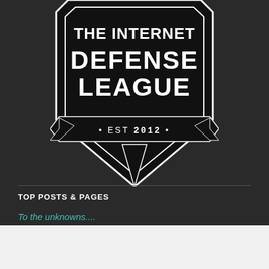[Figure (logo): The Internet Defense League shield logo with 'THE INTERNET DEFENSE LEAGUE • EST 2012 •' text on dark background]
TOP POSTS & PAGES
To the unknowns....
Advertisements
AUTOMATTIC
Build a better web and a better world.